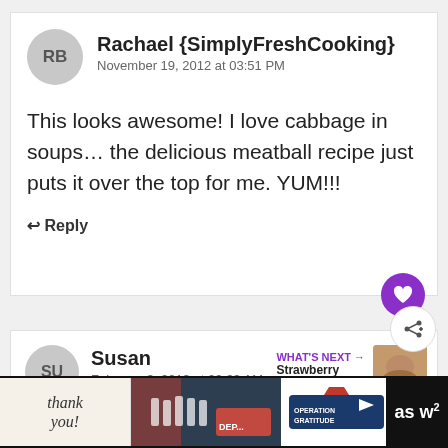RB
Rachael {SimplyFreshCooking}
November 19, 2012 at 03:51 PM
This looks awesome! I love cabbage in soups… the delicious meatball recipe just puts it over the top for me. YUM!!!
↩ Reply
SU
Susan
February 3, 2013 at 09:33 AM
WHAT'S NEXT → Strawberry Almond Flo...
[Figure (screenshot): Advertisement banner: Thank you! Operation Gratitude with firefighters image]